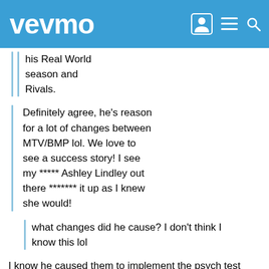vevmo
his Real World season and Rivals.
Definitely agree, he's reason for a lot of changes between MTV/BMP lol. We love to see a success story! I see my ***** Ashley Lindley out there ******* it up as I knew she would!
what changes did he cause? I don't think I know this lol
I know he caused them to implement the psych test into the casting process, but there may be more things that I may have heard that I didn't know about